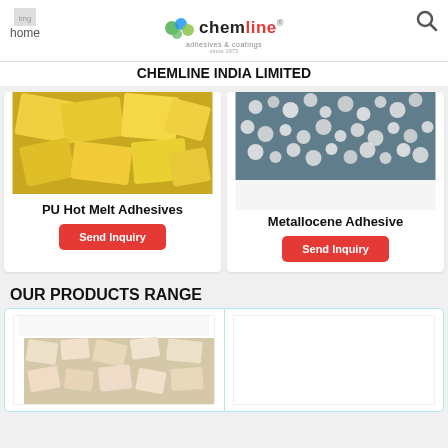home | Chemline India Limited
CHEMLINE INDIA LIMITED
[Figure (photo): Yellow PU hot melt adhesive pieces/chunks]
PU Hot Melt Adhesives
[Figure (photo): White/clear plastic granules - Metallocene Adhesive]
Metallocene Adhesive
OUR PRODUCTS RANGE
[Figure (photo): White/cream colored adhesive flakes or chips]